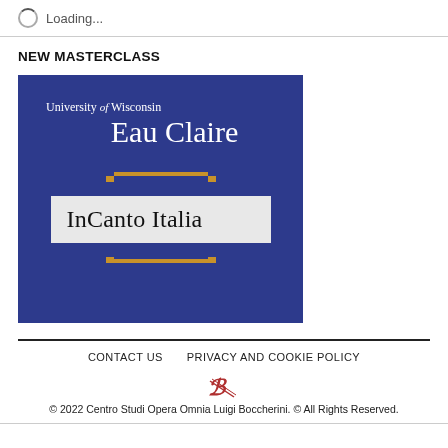Loading...
NEW MASTERCLASS
[Figure (logo): University of Wisconsin Eau Claire logo with blue background and InCanto Italia text in a light box, with gold bracket decorations]
CONTACT US   PRIVACY AND COOKIE POLICY   © 2022 Centro Studi Opera Omnia Luigi Boccherini. © All Rights Reserved.